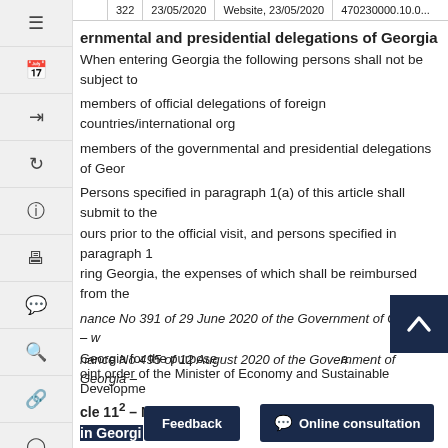|  | 322 | 23/05/2020 | Website, 23/05/2020 | 470230000.10.0... |
| --- | --- | --- | --- | --- |
governmental and presidential delegations of Georgia
When entering Georgia the following persons shall not be subject to...
members of official delegations of foreign countries/international org...
members of the governmental and presidential delegations of Georgia...
Persons specified in paragraph 1(a) of this article shall submit to the... hours prior to the official visit, and persons specified in paragraph 1... ring Georgia, the expenses of which shall be reimbursed from the...
nance No 391 of 29 June 2020 of the Government of Georgia – w...
nance No 495 of 12 August 2020 of the Government of Georgia –...
Article 11² – Measures to be taken in relation to visitors in Georgi...
(Deleted – 27.8.2020, No 538).
Georgia for the purpose... joint order of the Minister of Economy and Sustainable Developme...